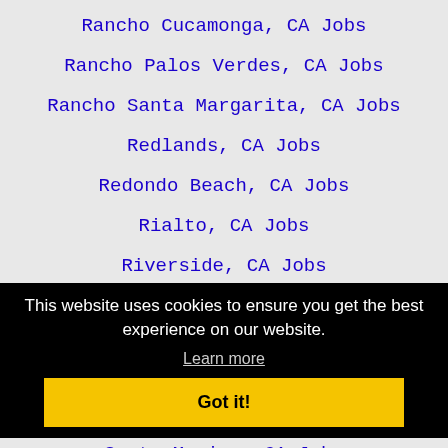Rancho Cucamonga, CA Jobs
Rancho Palos Verdes, CA Jobs
Rancho Santa Margarita, CA Jobs
Redlands, CA Jobs
Redondo Beach, CA Jobs
Rialto, CA Jobs
Riverside, CA Jobs
Rosemead, CA Jobs
Rowland Heights, CA Jobs
This website uses cookies to ensure you get the best experience on our website.
Learn more
Got it!
Santa Monica, CA Jobs